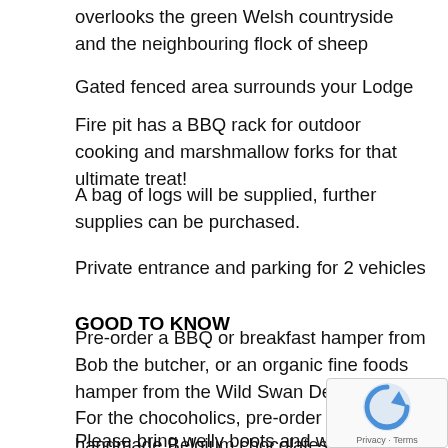overlooks the green Welsh countryside and the neighbouring flock of sheep
Gated fenced area surrounds your Lodge
Fire pit has a BBQ rack for outdoor cooking and marshmallow forks for that ultimate treat!
A bag of logs will be supplied, further supplies can be purchased.
Private entrance and parking for 2 vehicles
GOOD TO KNOW
Pre-order a BBQ or breakfast hamper from Bob the butcher, or an organic fine foods hamper from the Wild Swan Delicatessen. For the chocoholics, pre-order a gift box of handmade Belgium chocolates, fudges and sweets.
Please bring welly boots and warm clothes and lots of